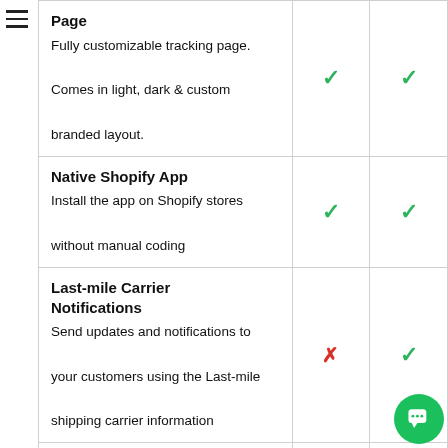| Feature | Plan 1 | Plan 2 |
| --- | --- | --- |
| Page
Fully customizable tracking page.
Comes in light, dark & custom branded layout. | ✓ | ✓ |
| Native Shopify App
Install the app on Shopify stores without manual coding | ✓ | ✓ |
| Last-mile Carrier Notifications
Send updates and notifications to your customers using the Last-mile shipping carrier information | ✗ | ✓ |
| Smart ETA (coming soon)
Eliminate questions about the order |  |  |